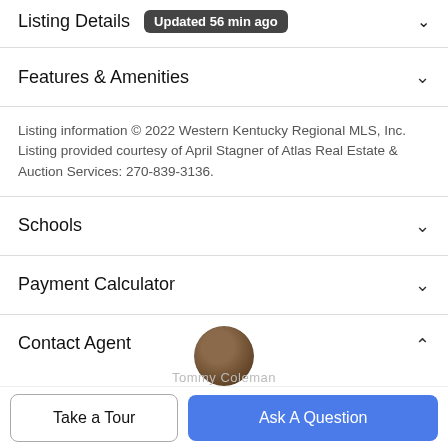Listing Details Updated 56 min ago
Features & Amenities
Listing information © 2022 Western Kentucky Regional MLS, Inc. Listing provided courtesy of April Stagner of Atlas Real Estate & Auction Services: 270-839-3136.
Schools
Payment Calculator
Contact Agent
Take a Tour
Ask A Question